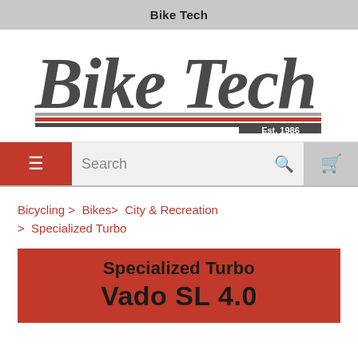Bike Tech
[Figure (logo): Bike Tech logo in bold italic script font with decorative lines and 'Est. 1986' text]
Search
Bicycling > Bikes > City & Recreation > Specialized Turbo
Specialized Turbo Vado SL 4.0